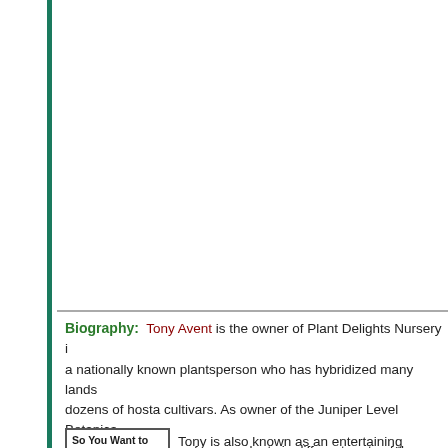Biography: Tony Avent is the owner of Plant Delights Nursery is a nationally known plantsperson who has hybridized many lands dozens of hosta cultivars. As owner of the Juniper Level Botanica many trips to explore for new plants in different parts of the wor
[Figure (other): Book cover box with text: So You Want to Start a Nursery]
Tony is also known as an entertaining speaker